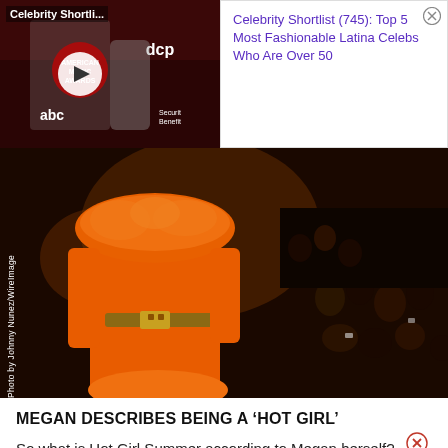[Figure (screenshot): Video thumbnail showing a person at American Music Awards red carpet event with play button overlay, labeled 'Celebrity Shortli...']
Celebrity Shortlist (745): Top 5 Most Fashionable Latina Celebs Who Are Over 50
[Figure (photo): Photo of a person in a bright orange leather coat with orange fur collar and hem, gold belt, at what appears to be an event with audience in background. Credit: Photo by Johnny Nunez/WireImage]
MEGAN DESCRIBES BEING A 'HOT GIRL'
So what is Hot Girl Summer according to Megan herself?